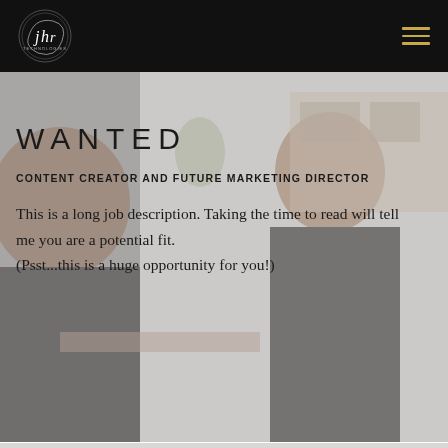[Figure (logo): JHR logo — circular calligraphic emblem in white on black background, top left]
[Figure (photo): Background photo showing two men in a casual office setting, one smiling, rendered with a light gray overlay]
WANTED
CONTENT CREATOR AND FUTURE MARKETING DIRECTOR
This is a long job description. Taking the time to read will tell me you are a potential fit.
(Psst...this is a huge opportunity for you!)